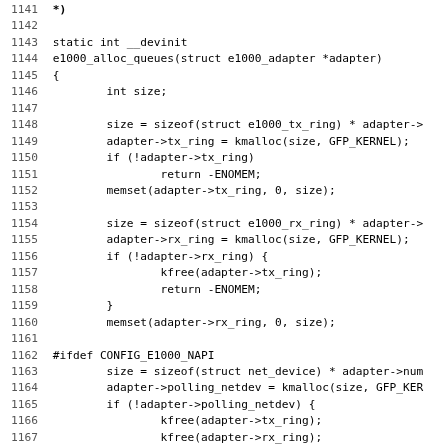[Figure (screenshot): Source code listing in monospace font showing C code for e1000_alloc_queues function, lines 1141-1172+, with line numbers on the left.]